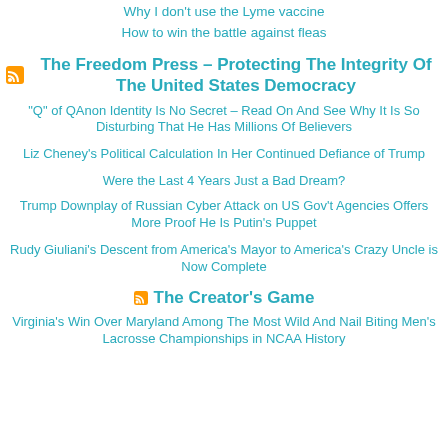Why I don't use the Lyme vaccine
How to win the battle against fleas
The Freedom Press – Protecting The Integrity Of The United States Democracy
“Q” of QAnon Identity Is No Secret – Read On And See Why It Is So Disturbing That He Has Millions Of Believers
Liz Cheney's Political Calculation In Her Continued Defiance of Trump
Were the Last 4 Years Just a Bad Dream?
Trump Downplay of Russian Cyber Attack on US Gov't Agencies Offers More Proof He Is Putin's Puppet
Rudy Giuliani's Descent from America's Mayor to America's Crazy Uncle is Now Complete
The Creator’s Game
Virginia's Win Over Maryland Among The Most Wild And Nail Biting Men's Lacrosse Championships in NCAA History